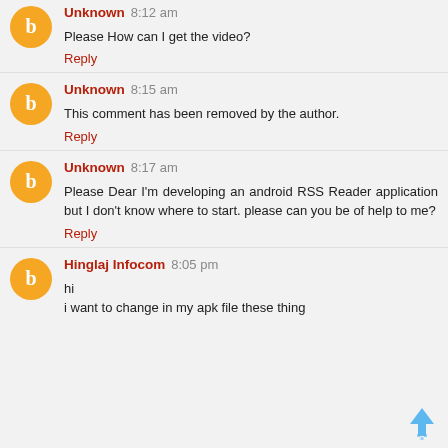Unknown 8:12 am
Please How can I get the video?
Reply
Unknown 8:15 am
This comment has been removed by the author.
Reply
Unknown 8:17 am
Please Dear I'm developing an android RSS Reader application but I don't know where to start. please can you be of help to me?
Reply
Hinglaj Infocom 8:05 pm
hi
i want to change in my apk file these thing